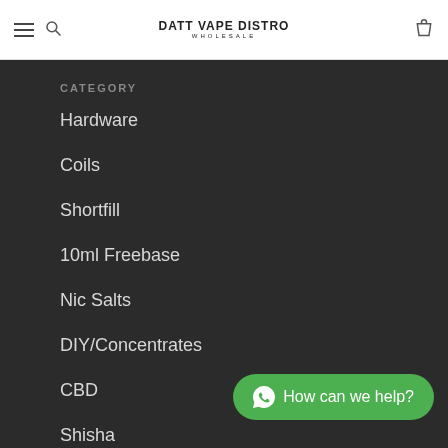Datt Vape Distro Wholesale
CATEGORY
Hardware
Coils
Shortfill
10ml Freebase
Nic Salts
DIY/Concentrates
CBD
Shisha
POS
How can we help?